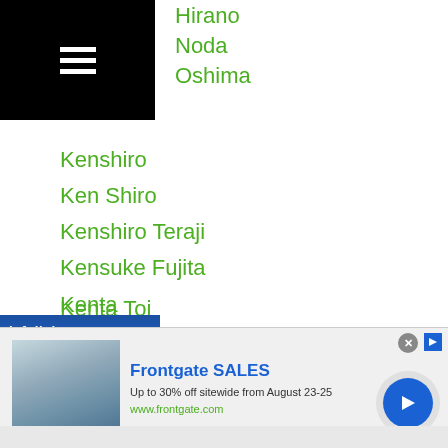Hirano
Noda
Oshima
Kenshiro
Ken Shiro
Kenshiro Teraji
Kensuke Fujita
Kenta
Kenta Endo
Kenta Matsui
Kenta Nakagawa
Kenta Nomura
Kenta Okumura
Kenta Onjo
Kentaro Masuda
Kenta Toi
[Figure (other): Infolinks advertisement label bar]
[Figure (other): Frontgate SALES advertisement banner with bedroom image, text: Frontgate SALES, Up to 30% off sitewide from August 23-25, www.frontgate.com]